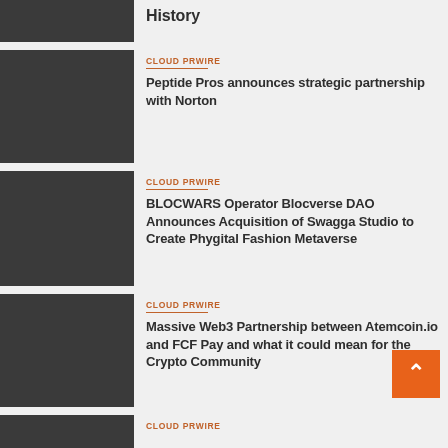History
CLOUD PRWIRE
Peptide Pros announces strategic partnership with Norton
CLOUD PRWIRE
BLOCWARS Operator Blocverse DAO Announces Acquisition of Swagga Studio to Create Phygital Fashion Metaverse
CLOUD PRWIRE
Massive Web3 Partnership between Atemcoin.io and FCF Pay and what it could mean for the Crypto Community
CLOUD PRWIRE